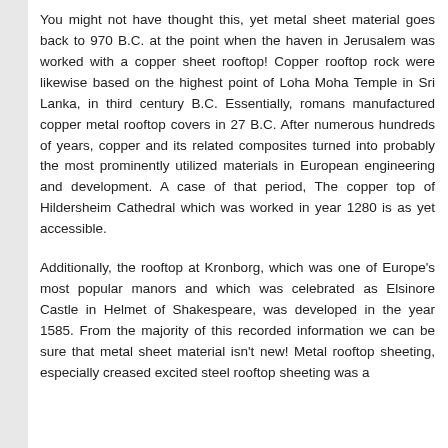You might not have thought this, yet metal sheet material goes back to 970 B.C. at the point when the haven in Jerusalem was worked with a copper sheet rooftop! Copper rooftop rock were likewise based on the highest point of Loha Moha Temple in Sri Lanka, in third century B.C. Essentially, romans manufactured copper metal rooftop covers in 27 B.C. After numerous hundreds of years, copper and its related composites turned into probably the most prominently utilized materials in European engineering and development. A case of that period, The copper top of Hildersheim Cathedral which was worked in year 1280 is as yet accessible.
Additionally, the rooftop at Kronborg, which was one of Europe's most popular manors and which was celebrated as Elsinore Castle in Helmet of Shakespeare, was developed in the year 1585. From the majority of this recorded information we can be sure that metal sheet material isn't new! Metal rooftop sheeting, especially creased excited steel rooftop sheeting was a